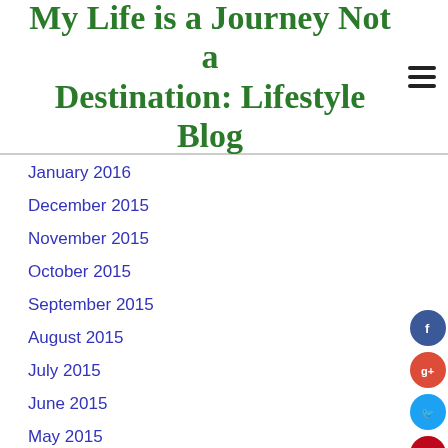My Life is a Journey Not a Destination: Lifestyle Blog
January 2016
December 2015
November 2015
October 2015
September 2015
August 2015
July 2015
June 2015
May 2015
April 2015
March 2015
February 2015
January 2015
December 2014
November 2014